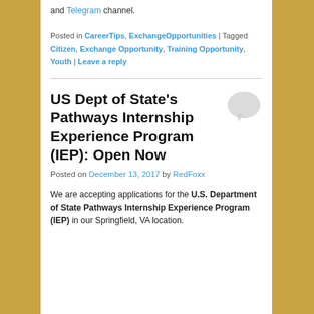and Telegram channel.
Posted in CareerTips, ExchangeOpportunities | Tagged Citizen, Exchange Opportunity, Training Opportunity, Youth | Leave a reply
US Dept of State's Pathways Internship Experience Program (IEP): Open Now
Posted on December 13, 2017 by RedFoxx
We are accepting applications for the U.S. Department of State Pathways Internship Experience Program (IEP) in our Springfield, VA location.